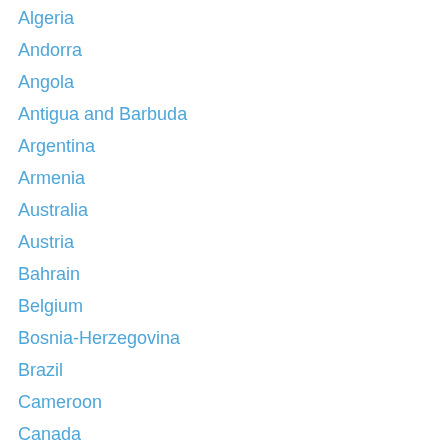Algeria
Andorra
Angola
Antigua and Barbuda
Argentina
Armenia
Australia
Austria
Bahrain
Belgium
Bosnia-Herzegovina
Brazil
Cameroon
Canada
Chile
China
Colombia
Costa Rica
Croatia
Cuba